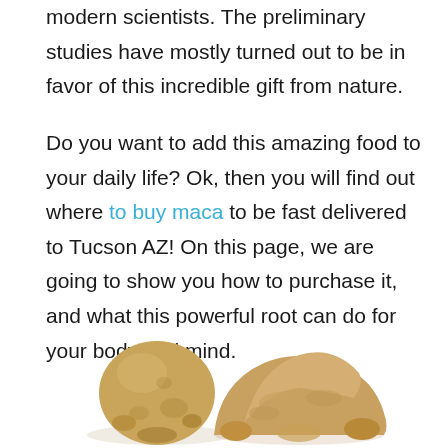modern scientists. The preliminary studies have mostly turned out to be in favor of this incredible gift from nature.
Do you want to add this amazing food to your daily life? Ok, then you will find out where to buy maca to be fast delivered to Tucson AZ! On this page, we are going to show you how to purchase it, and what this powerful root can do for your body and mind.
[Figure (photo): A maca root (whole) and a pile of maca powder side by side on a white background]